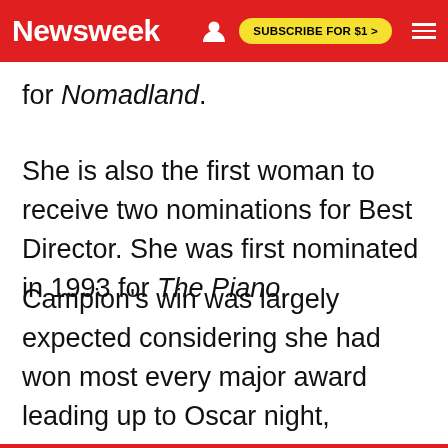Newsweek — SUBSCRIBE FOR $1 >
for Nomadland.
She is also the first woman to receive two nominations for Best Director. She was first nominated in 1993 for The Piano.
Campion's win was largely expected considering she had won most every major award leading up to Oscar night, including the Director's Guild Award for Best Director, which is often seen as the main indicator for who will take home the Oscar for directing.